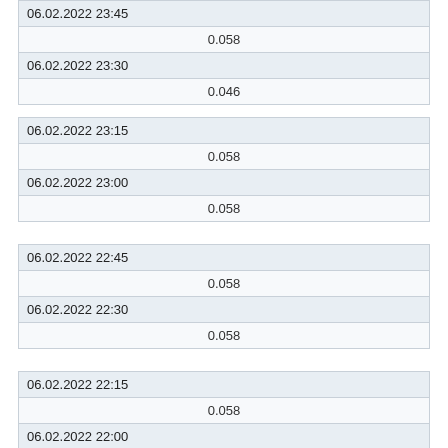| Date | Value |
| --- | --- |
| 06.02.2022 23:45 | 0.058 |
| 06.02.2022 23:30 | 0.046 |
| 06.02.2022 23:15 | 0.058 |
| 06.02.2022 23:00 | 0.058 |
| 06.02.2022 22:45 | 0.058 |
| 06.02.2022 22:30 | 0.058 |
| 06.02.2022 22:15 | 0.058 |
| 06.02.2022 22:00 | 0.058 |